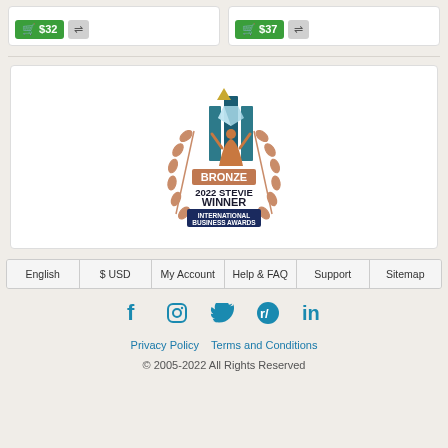[Figure (screenshot): Two product cards with green price buttons showing $32 and $37 with compare icons]
[Figure (logo): Bronze 2022 Stevie Winner International Business Awards logo with laurel wreath and trophy figure]
English   $ USD   My Account   Help & FAQ   Support   Sitemap
[Figure (infographic): Social media icons: Facebook, Instagram, Twitter, Reddit, LinkedIn]
Privacy Policy   Terms and Conditions
© 2005-2022 All Rights Reserved